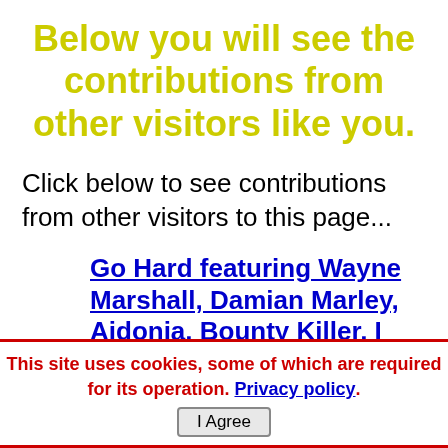Below you will see the contributions from other visitors like you.
Click below to see contributions from other visitors to this page...
Go Hard featuring Wayne Marshall, Damian Marley, Aidonia, Bounty Killer, I Octane and Vybz Kartel produced by Baby G
The collaboration for the summer which
This site uses cookies, some of which are required for its operation. Privacy policy. I Agree